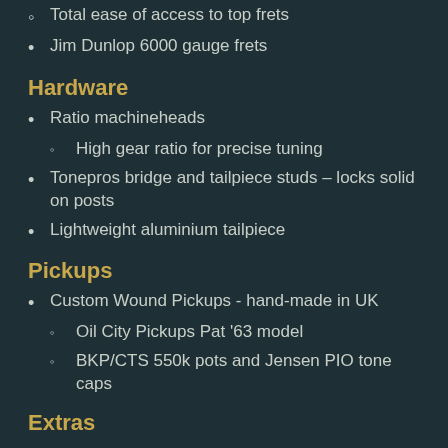Total ease of access to top frets
Jim Dunlop 6000 gauge frets
Hardware
Ratio machineheads
High gear ratio for precise tuning
Tonepros bridge and tailpiece studs – locks solid on posts
Lightweight aluminium tailpiece
Pickups
Custom Wound Pickups - hand-made in UK
Oil City Pickups Pat '63 model
BKP/CTS 550k pots and Jensen PIO tone caps
Extras